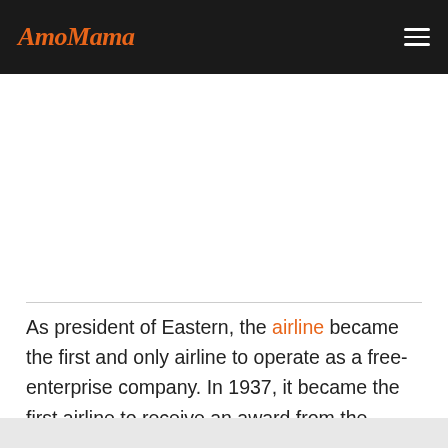AmoMama
As president of Eastern, the airline became the first and only airline to operate as a free-enterprise company. In 1937, it became the first airline to receive an award from the National Safety Council for seven consecutive years of flying more than 141 million passenger miles without